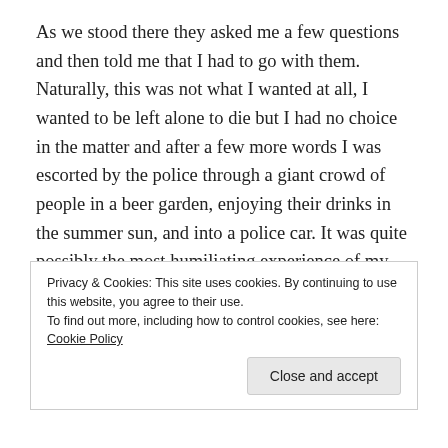As we stood there they asked me a few questions and then told me that I had to go with them. Naturally, this was not what I wanted at all, I wanted to be left alone to die but I had no choice in the matter and after a few more words I was escorted by the police through a giant crowd of people in a beer garden, enjoying their drinks in the summer sun, and into a police car. It was quite possibly the most humiliating experience of my life. Once in the car I was then driven home, but as two police officers went into the house I was left locked in the vehicle with the third police woman who was trying
Privacy & Cookies: This site uses cookies. By continuing to use this website, you agree to their use.
To find out more, including how to control cookies, see here: Cookie Policy
Close and accept